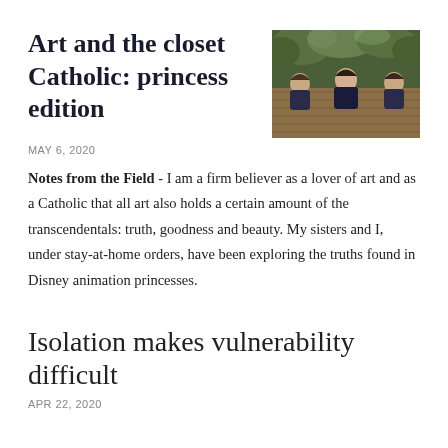Art and the closet Catholic: princess edition
[Figure (photo): Three women sitting at an outdoor wooden table on a deck surrounded by trees]
MAY 6, 2020
Notes from the Field - I am a firm believer as a lover of art and as a Catholic that all art also holds a certain amount of the transcendentals: truth, goodness and beauty. My sisters and I, under stay-at-home orders, have been exploring the truths found in Disney animation princesses.
Isolation makes vulnerability difficult
APR 22, 2020